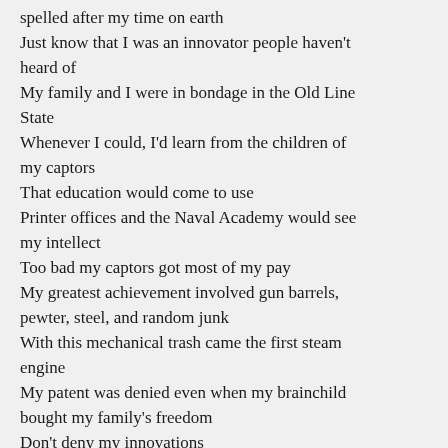spelled after my time on earth
Just know that I was an innovator people haven't heard of
My family and I were in bondage in the Old Line State
Whenever I could, I'd learn from the children of my captors
That education would come to use
Printer offices and the Naval Academy would see my intellect
Too bad my captors got most of my pay
My greatest achievement involved gun barrels, pewter, steel, and random junk
With this mechanical trash came the first steam engine
My patent was denied even when my brainchild bought my family's freedom
Don't deny my innovations